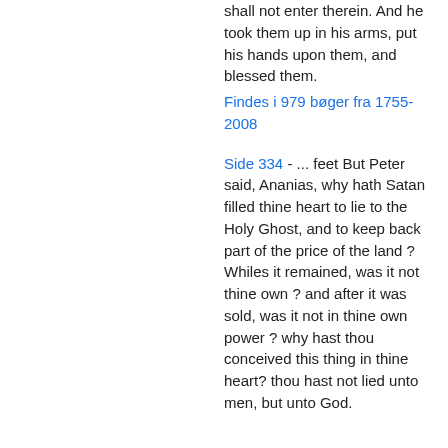shall not enter therein. And he took them up in his arms, put his hands upon them, and blessed them.
Findes i 979 bøger fra 1755-2008
Side 334 - ... feet But Peter said, Ananias, why hath Satan filled thine heart to lie to the Holy Ghost, and to keep back part of the price of the land ? Whiles it remained, was it not thine own ? and after it was sold, was it not in thine own power ? why hast thou conceived this thing in thine heart? thou hast not lied unto men, but unto God.